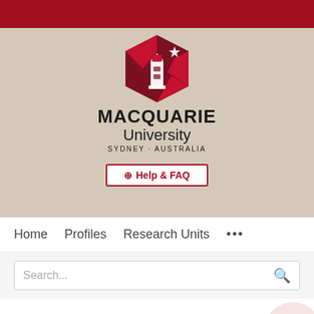[Figure (logo): Macquarie University logo with shield/lighthouse, text MACQUARIE University SYDNEY·AUSTRALIA, and Help & FAQ button on beige header background]
Home   Profiles   Research Units   ...
Search...
Unload it: The key to the treatment of knee osteoarthritis